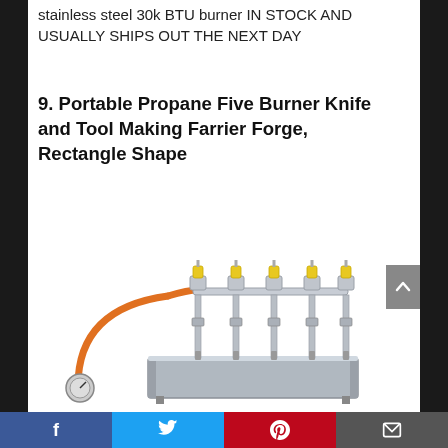stainless steel 30k BTU burner IN STOCK AND USUALLY SHIPS OUT THE NEXT DAY
9. Portable Propane Five Burner Knife and Tool Making Farrier Forge, Rectangle Shape
[Figure (photo): Portable propane five-burner forge with rectangular stainless steel body, five vertical burner tubes with yellow tips connected by a horizontal manifold, with an orange propane hose and regulator gauge visible on the left side.]
Social share bar with Facebook, Twitter, Pinterest, and Email buttons